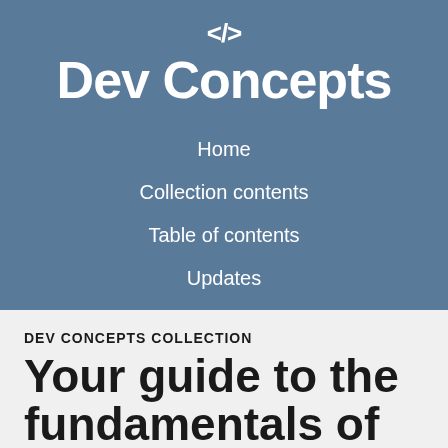[Figure (logo): Dev Concepts logo with </> code icon above the brand name]
Dev Concepts
Home
Collection contents
Table of contents
Updates
DEV CONCEPTS COLLECTION
Your guide to the fundamentals of software development